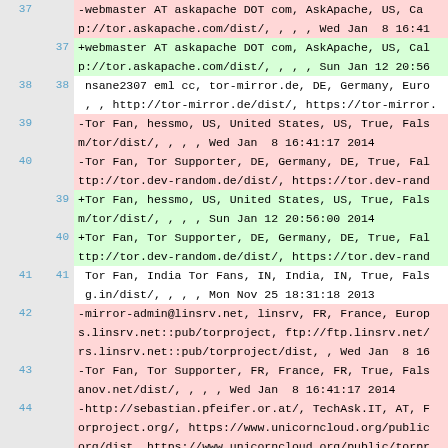Diff/code listing showing mirror entries 37-45 with added/removed lines indicated by +/- prefixes and colored backgrounds (red for removed, green for added, white for unchanged). Content includes webmaster addresses, tor mirror URLs, dates, and geographic information.